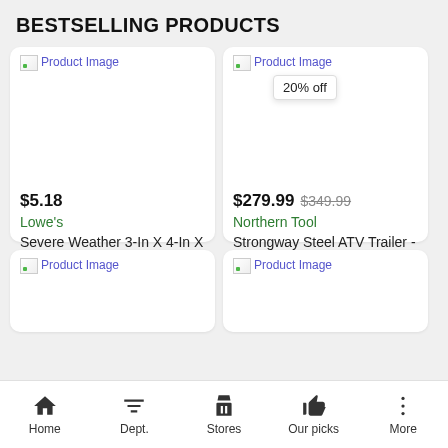BESTSELLING PRODUCTS
[Figure (screenshot): Product card 1: broken image placeholder labeled 'Product Image', price $5.18, store Lowe's, product name 'Severe Weather 3-In X 4-In X 8 ...']
[Figure (screenshot): Product card 2: broken image placeholder labeled 'Product Image' with '20% off' tooltip badge, price $279.99 (original $349.99), store Northern Tool, product name 'Strongway Steel ATV Trailer - 1,...']
[Figure (screenshot): Product card 3 (bottom left, partially visible): broken image placeholder labeled 'Product Image']
[Figure (screenshot): Product card 4 (bottom right, partially visible): broken image placeholder labeled 'Product Image']
Home  Dept.  Stores  Our picks  More